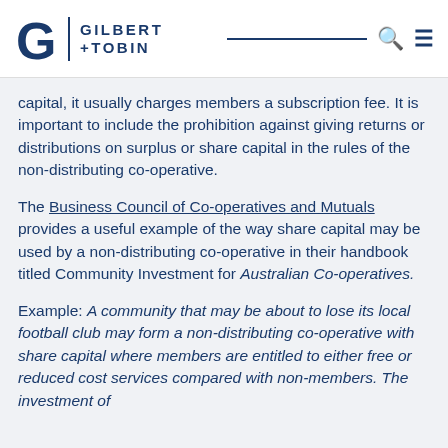Gilbert + Tobin
capital, it usually charges members a subscription fee. It is important to include the prohibition against giving returns or distributions on surplus or share capital in the rules of the non-distributing co-operative.
The Business Council of Co-operatives and Mutuals provides a useful example of the way share capital may be used by a non-distributing co-operative in their handbook titled Community Investment for Australian Co-operatives.
Example: A community that may be about to lose its local football club may form a non-distributing co-operative with share capital where members are entitled to either free or reduced cost services compared with non-members. The investment of